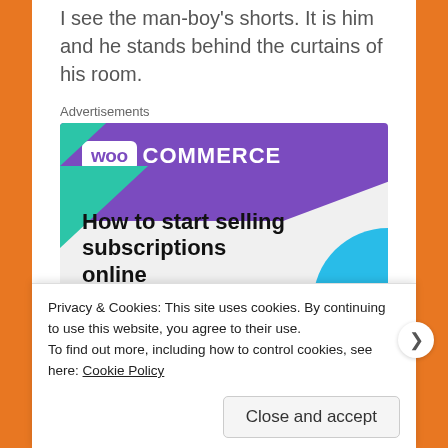I see the man-boy's shorts. It is him and he stands behind the curtains of his room.
Advertisements
[Figure (screenshot): WooCommerce advertisement banner showing the WooCommerce logo on a purple background with teal and blue decorative shapes, and the text 'How to start selling subscriptions online' with a purple CTA button.]
Privacy & Cookies: This site uses cookies. By continuing to use this website, you agree to their use.
To find out more, including how to control cookies, see here: Cookie Policy
Close and accept